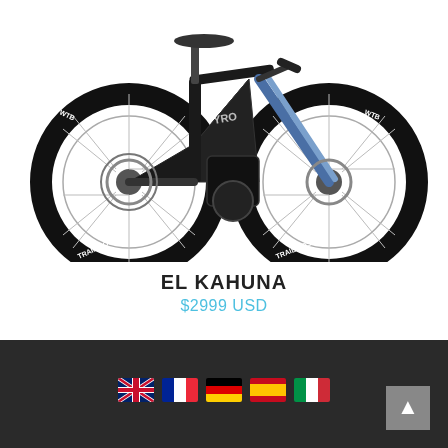[Figure (photo): Black electric mountain bike (EL KAHUNA) with WTB Trail Boss tires, front suspension fork, disc brakes, and mid-drive motor, shown in profile view against white background]
EL KAHUNA
$2999 USD
[Figure (infographic): Footer bar with language flag icons (UK, France/Italy, Germany, Spain, Italy) and a scroll-to-top button]